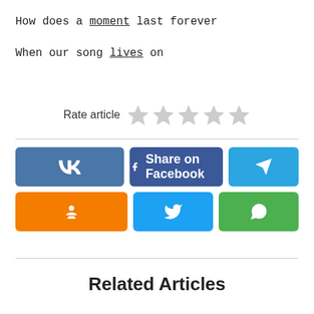How does a moment last forever
When our song lives on
Rate article ★★★★★
[Figure (infographic): Social share buttons: VK, Share on Facebook, Telegram, Odnoklassniki, Twitter, WhatsApp]
Related Articles